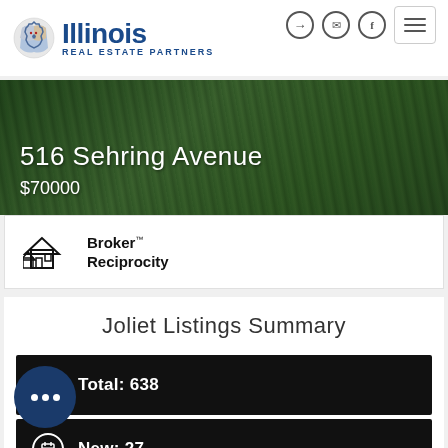[Figure (logo): Illinois Real Estate Partners logo with state outline icon]
516 Sehring Avenue
$70000
[Figure (logo): Broker Reciprocity logo with house icon]
Joliet Listings Summary
Total: 638
New: 27